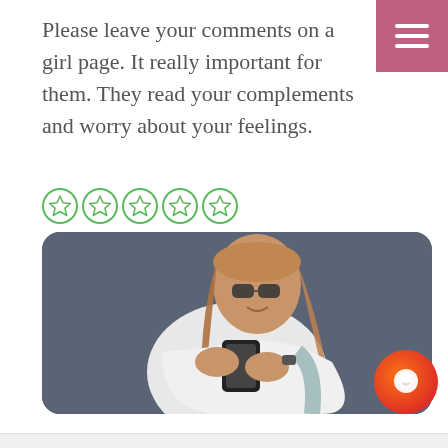Please leave your comments on a girl page. It really important for them. They read your complements and worry about your feelings.
[Figure (other): Five green star rating icons in a row]
[Figure (photo): Young woman with long brown hair and sunglasses, wearing a white t-shirt, looking at her smartphone, with a teal backpack, against a dark blue-gray wall background]